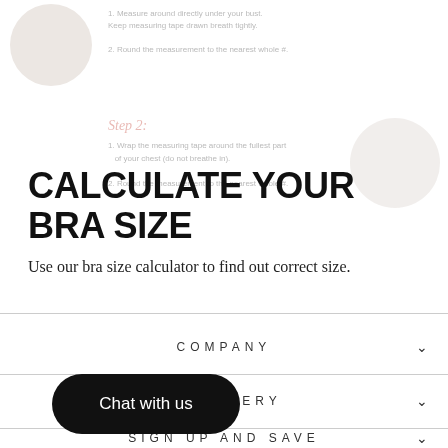[Figure (photo): Faded top section showing Step 1 and Step 2 of bra measuring instructions with two circular photos]
CALCULATE YOUR BRA SIZE
Use our bra size calculator to find out correct size.
COMPANY
DISCOVERY
SIGN UP AND SAVE
[Figure (other): Chat with us button — black rounded pill button]